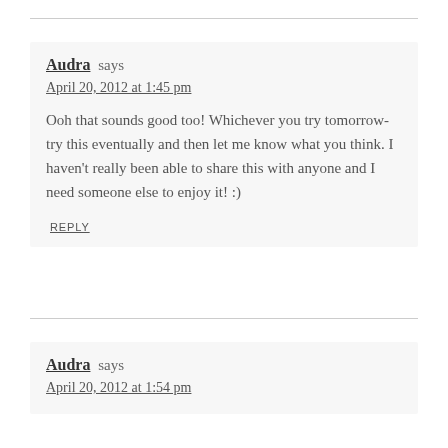Audra says
April 20, 2012 at 1:45 pm
Ooh that sounds good too! Whichever you try tomorrow- try this eventually and then let me know what you think. I haven’t really been able to share this with anyone and I need someone else to enjoy it! :)
REPLY
Audra says
April 20, 2012 at 1:54 pm